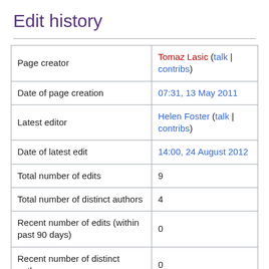Edit history
|  |  |
| --- | --- |
| Page creator | Tomaz Lasic (talk | contribs) |
| Date of page creation | 07:31, 13 May 2011 |
| Latest editor | Helen Foster (talk | contribs) |
| Date of latest edit | 14:00, 24 August 2012 |
| Total number of edits | 9 |
| Total number of distinct authors | 4 |
| Recent number of edits (within past 90 days) | 0 |
| Recent number of distinct authors | 0 |